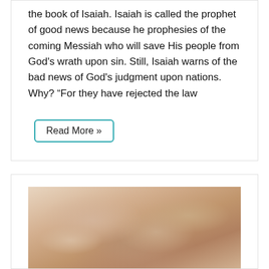the book of Isaiah. Isaiah is called the prophet of good news because he prophesies of the coming Messiah who will save His people from God's wrath upon sin. Still, Isaiah warns of the bad news of God's judgment upon nations. Why? “For they have rejected the law
Read More »
[Figure (photo): A close-up photograph of hands clasped together, showing elderly and younger hands in a gesture of comfort or togetherness. The image has warm, muted tones in beige and brown.]